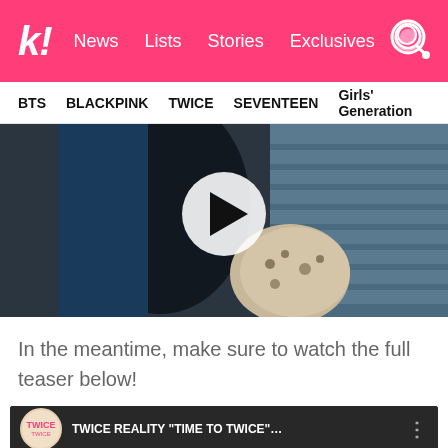k! News Lists Stories Exclusives
BTS BLACKPINK TWICE SEVENTEEN Girls' Generation
[Figure (screenshot): Video thumbnail showing a person in dark clothing with a play button overlay on a dark blue background]
In the meantime, make sure to watch the full teaser below!
[Figure (screenshot): YouTube embed showing TWICE REALITY "TIME TO TWICE" video with TWICE logo and a person smiling in preview]